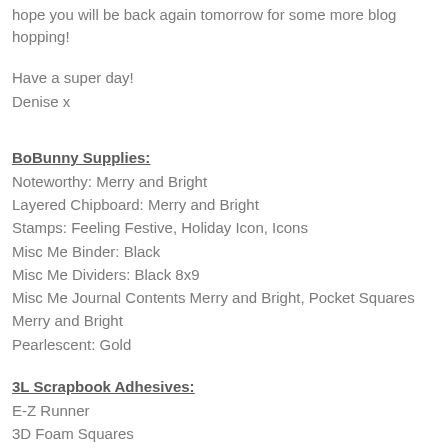hope you will be back again tomorrow for some more blog hopping!
Have a super day!
Denise x
BoBunny Supplies:
Noteworthy: Merry and Bright
Layered Chipboard: Merry and Bright
Stamps: Feeling Festive, Holiday Icon, Icons
Misc Me Binder: Black
Misc Me Dividers: Black 8x9
Misc Me Journal Contents Merry and Bright, Pocket Squares
Merry and Bright
Pearlescent: Gold
3L Scrapbook Adhesives:
E-Z Runner
3D Foam Squares